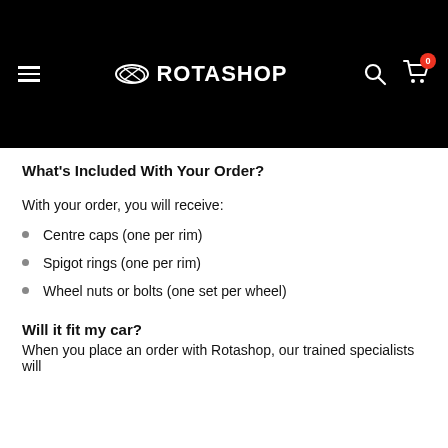[Figure (logo): Rotashop website header with hamburger menu, Rotashop logo (stylized arrow icon + ROTASHOP text in white on black background), search icon, and cart icon with badge showing 0]
What's Included With Your Order?
With your order, you will receive:
Centre caps (one per rim)
Spigot rings (one per rim)
Wheel nuts or bolts (one set per wheel)
Will it fit my car?
When you place an order with Rotashop, our trained specialists will